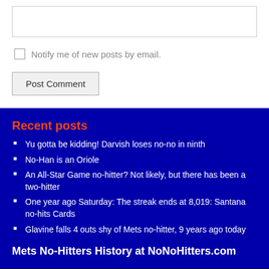[input field]
Notify me of new posts by email.
Post Comment
Recent posts
Yu gotta be kidding! Darvish loses no-no in ninth
No-Han is an Oriole
An All-Star Game no-hitter? Not likely, but there has been a two-hitter
One year ago Saturday: The streak ends at 8,019: Santana no-hits Cards
Glavine falls 4 outs shy of Mets no-hitter, 9 years ago today
Mets No-Hitters History at NoNoHitters.com